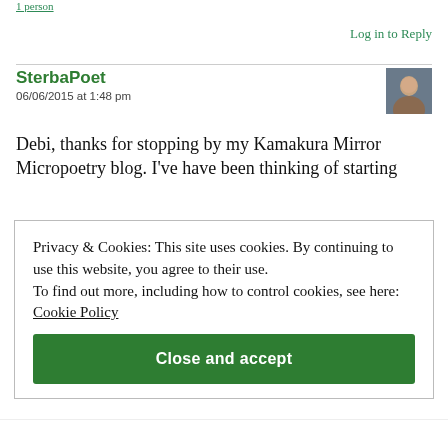Liked by 1 person
Log in to Reply
SterbaPoet
06/06/2015 at 1:48 pm
Debi, thanks for stopping by my Kamakura Mirror Micropoetry blog. I've have been thinking of starting
Privacy & Cookies: This site uses cookies. By continuing to use this website, you agree to their use. To find out more, including how to control cookies, see here: Cookie Policy
Close and accept